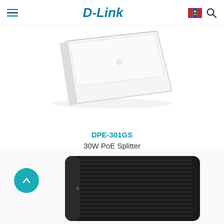D-Link
[Figure (photo): Partial view of a white D-Link DPE-301GS PoE splitter device, angled top-down view showing the white flat body]
DPE-301GS
30W PoE Splitter
[Figure (photo): Partial view of a black D-Link networking device with ribbed/vented top surface, shown at an angle]